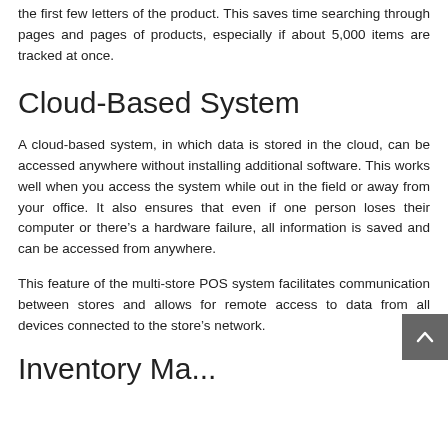the first few letters of the product. This saves time searching through pages and pages of products, especially if about 5,000 items are tracked at once.
Cloud-Based System
A cloud-based system, in which data is stored in the cloud, can be accessed anywhere without installing additional software. This works well when you access the system while out in the field or away from your office. It also ensures that even if one person loses their computer or there’s a hardware failure, all information is saved and can be accessed from anywhere.
This feature of the multi-store POS system facilitates communication between stores and allows for remote access to data from all devices connected to the store’s network.
Inventory Ma...